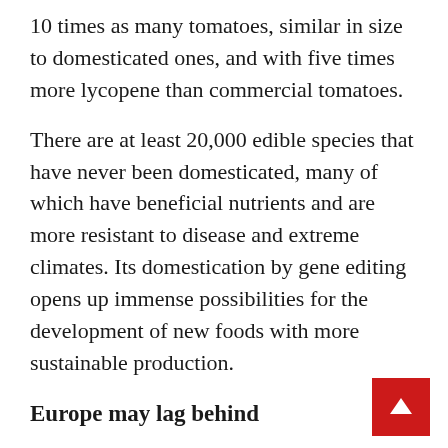10 times as many tomatoes, similar in size to domesticated ones, and with five times more lycopene than commercial tomatoes.
There are at least 20,000 edible species that have never been domesticated, many of which have beneficial nutrients and are more resistant to disease and extreme climates. Its domestication by gene editing opens up immense possibilities for the development of new foods with more sustainable production.
Europe may lag behind
Countries around the world are betting heavily on NPBTs. In the United States, the Department of Agriculture does not require labeling "edited" foods since they do not contain foreign DNA fragments and cannot be distinguished from